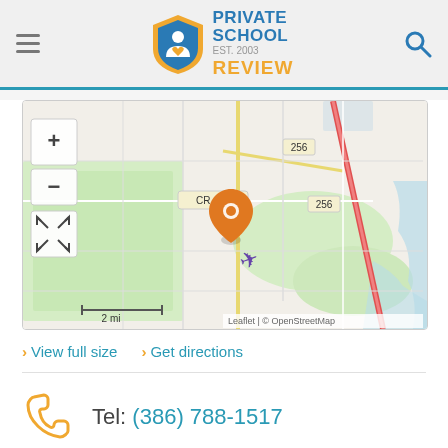Private School Review — EST. 2003
[Figure (map): OpenStreetMap showing location marker (orange pin) near CR 415 and route 256, with airport symbol, scale bar showing 2 mi. Leaflet | © OpenStreetMap attribution.]
View full size   Get directions
Tel: (386) 788-1517